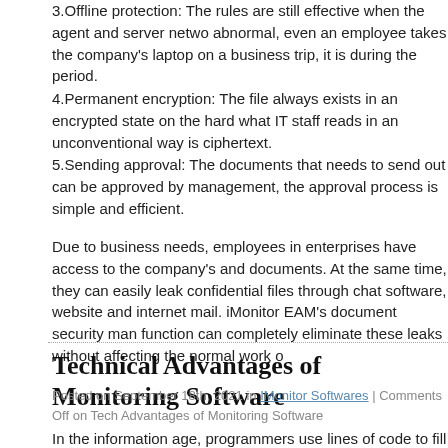3.Offline protection: The rules are still effective when the agent and server network abnormal, even an employee takes the company's laptop on a business trip, it is during the period.
4.Permanent encryption: The file always exists in an encrypted state on the hard what IT staff reads in an unconventional way is ciphertext.
5.Sending approval: The documents that needs to send out can be approved by management, the approval process is simple and efficient.
Due to business needs, employees in enterprises have access to the company's and documents. At the same time, they can easily leak confidential files through chat software, website and internet mail. iMonitor EAM's document security man function can completely eliminate these leaks without affecting the normal work o
Technical Advantages of Monitoring Software
Posted on September 18th, 2021 in IMonitor Softwares | Comments Off on Technical Advantages of Monitoring Software
In the information age, programmers use lines of code to fill our lives with artific and people are trying to control everything with software. Computers play an irre role in all aspects of business operations, management, and production. They als various important data. Designer's artistic creation, programmers tens of thousan